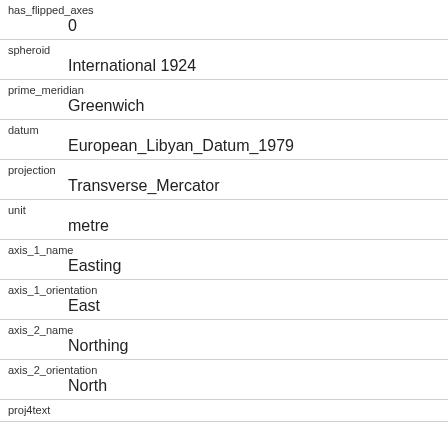| Key | Value |
| --- | --- |
| has_flipped_axes | 0 |
| spheroid | International 1924 |
| prime_meridian | Greenwich |
| datum | European_Libyan_Datum_1979 |
| projection | Transverse_Mercator |
| unit | metre |
| axis_1_name | Easting |
| axis_1_orientation | East |
| axis_2_name | Northing |
| axis_2_orientation | North |
| proj4text |  |